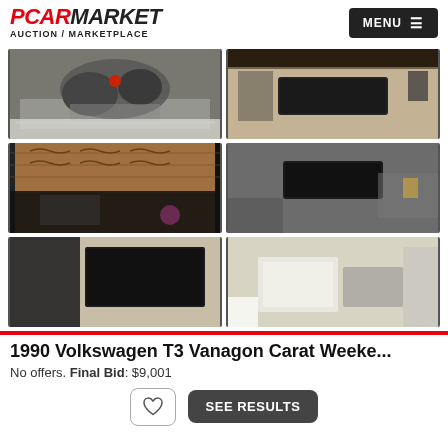PCARMARKET AUCTION / MARKETPLACE
[Figure (photo): Six car interior/engine detail photos in a 2x3 grid: engine bay, trunk/boot interior (x2), interior cargo area, and two partially visible bottom photos]
1990 Volkswagen T3 Vanagon Carat Weeke...
No offers. Final Bid: $9,001
SEE RESULTS